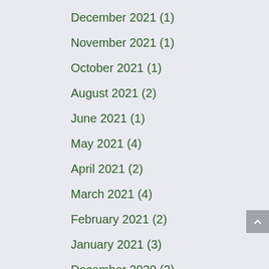December 2021 (1)
November 2021 (1)
October 2021 (1)
August 2021 (2)
June 2021 (1)
May 2021 (4)
April 2021 (2)
March 2021 (4)
February 2021 (2)
January 2021 (3)
December 2020 (2)
November 2020 (4)